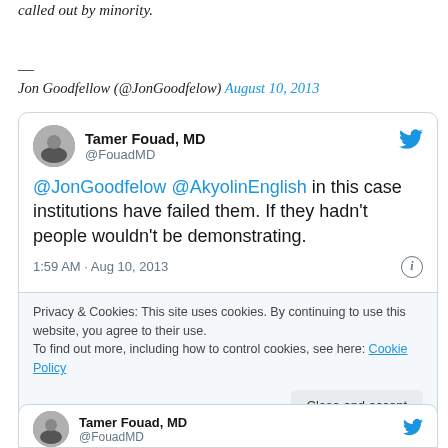called out by minority.
—
Jon Goodfellow (@JonGoodfelow) August 10, 2013
[Figure (screenshot): Embedded tweet from Tamer Fouad MD (@FouadMD) saying '@JonGoodfelow @AkyolinEnglish in this case institutions have failed them. If they hadn't people wouldn't be demonstrating.' Posted at 1:59 AM Aug 10, 2013. Includes a cookie consent bar and Close and accept button.]
Tamer Fouad, MD @FouadMD